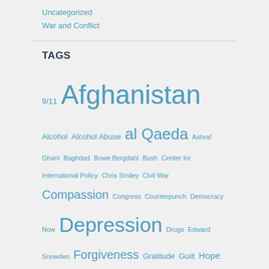Uncategorized
War and Conflict
TAGS
9/11 Afghanistan Alcohol Alcohol Abuse al Qaeda Ashraf Ghani Baghdad Bowe Bergdahl Bush Center for International Policy Chris Smiley Civil War Compassion Congress Counterpunch Democracy Now Depression Drugs Edward Snowden Forgiveness Gratitude Guilt Hope Huffington Post Live Human Rights Iran Iraq ISIS Islamic State Israel Karzai Kurd Kurds Libya Lies Life Love Madness Marine Corps Memorial Day Moral Injury National War Tax Resistance Coordinating Committee NWTRCC Obama Oil Osama bin Laden Pakistan Palestine Peace POW President Obama President Trump PTSD Recovery RT Scott Horton Shia Somalia